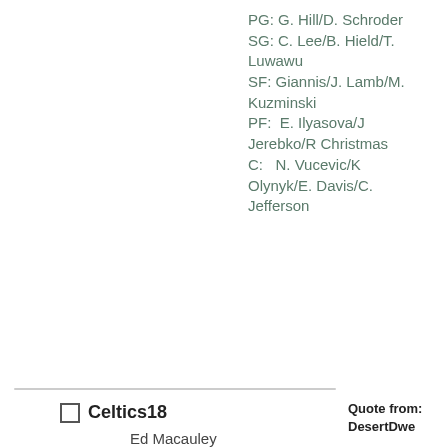PG: G. Hill/D. Schroder SG: C. Lee/B. Hield/T. Luwawu SF: Giannis/J. Lamb/M. Kuzminski PF: E. Ilyasova/J Jerebko/R Christmas C: N. Vucevic/K Olynyk/E. Davis/C. Jefferson
Celtics18
Ed Macauley
Quote from: DesertDwe